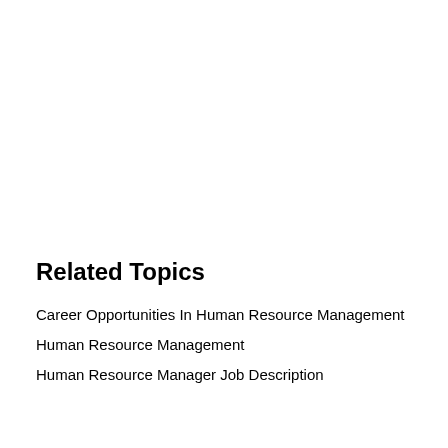Related Topics
Career Opportunities In Human Resource Management
Human Resource Management
Human Resource Manager Job Description